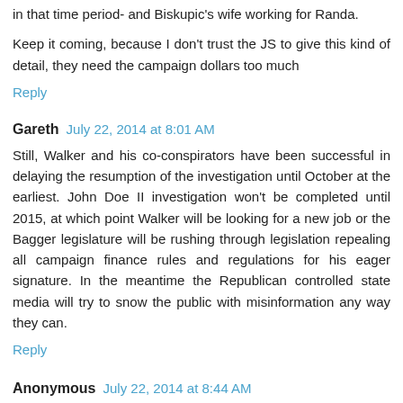in that time period- and Biskupic's wife working for Randa.
Keep it coming, because I don't trust the JS to give this kind of detail, they need the campaign dollars too much
Reply
Gareth  July 22, 2014 at 8:01 AM
Still, Walker and his co-conspirators have been successful in delaying the resumption of the investigation until October at the earliest. John Doe II investigation won't be completed until 2015, at which point Walker will be looking for a new job or the Bagger legislature will be rushing through legislation repealing all campaign finance rules and regulations for his eager signature. In the meantime the Republican controlled state media will try to snow the public with misinformation any way they can.
Reply
Anonymous  July 22, 2014 at 8:44 AM